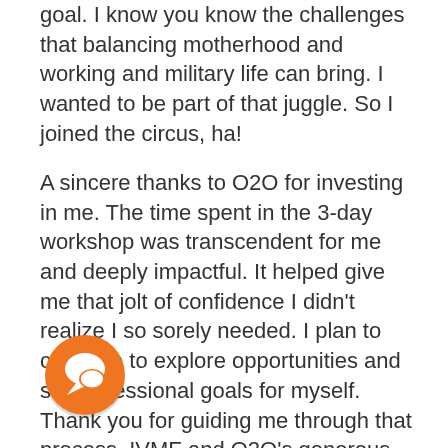goal. I know you know the challenges that balancing motherhood and working and military life can bring. I wanted to be part of that juggle. So I joined the circus, ha!
A sincere thanks to O2O for investing in me. The time spent in the 3-day workshop was transcendent for me and deeply impactful. It helped give me that jolt of confidence I didn't realize I so sorely needed. I plan to continue to explore opportunities and set professional goals for myself. Thank you for guiding me through that process. IVMF and O2O's generous offering to pay for my certification made the difference in my ability to earn my PMP this year and face pandemic unemployment with an industry gold-standard certification!
[Figure (illustration): Orange circular chat/speech bubble icon with a white speech bubble symbol inside]